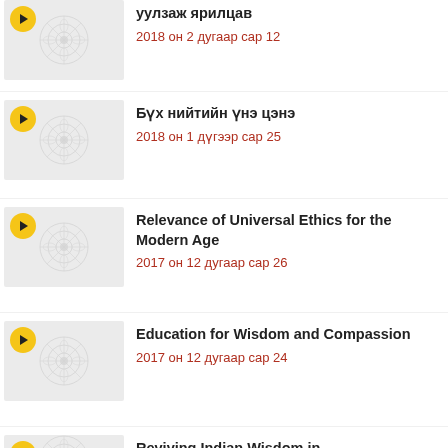уулзаж ярилцав
2018 он 2 дугаар сар 12
Бүх нийтийн үнэ цэнэ
2018 он 1 дүгээр сар 25
Relevance of Universal Ethics for the Modern Age
2017 он 12 дугаар сар 26
Education for Wisdom and Compassion
2017 он 12 дугаар сар 24
Reviving Indian Wisdom in…